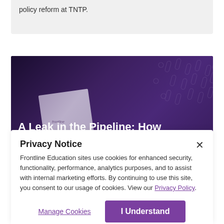policy reform at TNTP.
[Figure (photo): Dark purple background banner with book and title text 'A Leak in the Pipeline: How']
Privacy Notice
Frontline Education sites use cookies for enhanced security, functionality, performance, analytics purposes, and to assist with internal marketing efforts. By continuing to use this site, you consent to our usage of cookies. View our Privacy Policy.
Manage Cookies
I Understand